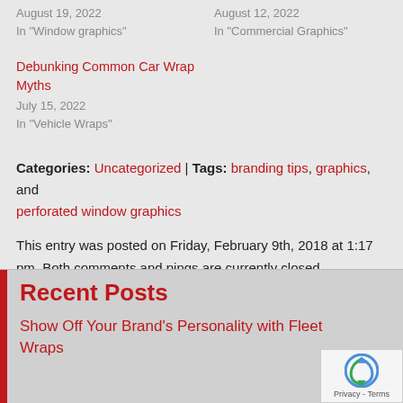August 19, 2022
In "Window graphics"
August 12, 2022
In "Commercial Graphics"
Debunking Common Car Wrap Myths
July 15, 2022
In "Vehicle Wraps"
Categories: Uncategorized | Tags: branding tips, graphics, and perforated window graphics
This entry was posted on Friday, February 9th, 2018 at 1:17 pm. Both comments and pings are currently closed.
Recent Posts
Show Off Your Brand's Personality with Fleet Wraps